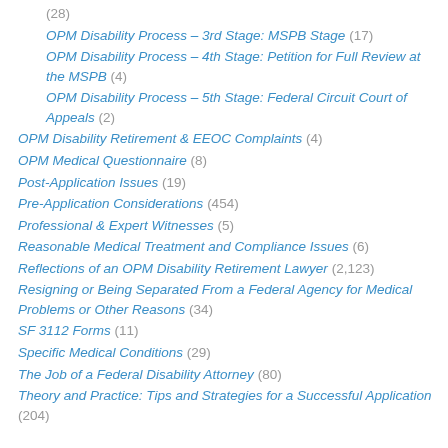(28)
OPM Disability Process – 3rd Stage: MSPB Stage (17)
OPM Disability Process – 4th Stage: Petition for Full Review at the MSPB (4)
OPM Disability Process – 5th Stage: Federal Circuit Court of Appeals (2)
OPM Disability Retirement & EEOC Complaints (4)
OPM Medical Questionnaire (8)
Post-Application Issues (19)
Pre-Application Considerations (454)
Professional & Expert Witnesses (5)
Reasonable Medical Treatment and Compliance Issues (6)
Reflections of an OPM Disability Retirement Lawyer (2,123)
Resigning or Being Separated From a Federal Agency for Medical Problems or Other Reasons (34)
SF 3112 Forms (11)
Specific Medical Conditions (29)
The Job of a Federal Disability Attorney (80)
Theory and Practice: Tips and Strategies for a Successful Application (204)